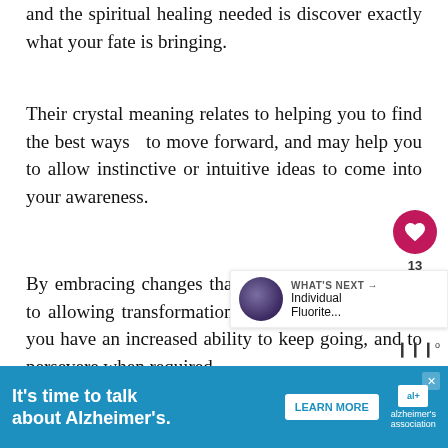and the spiritual healing needed is discover exactly what your fate is bringing.
Their crystal meaning relates to helping you to find the best ways  to move forward, and may help you to allow instinctive or intuitive ideas to come into your awareness.
By embracing changes that occur from being open to allowing transformation to occur, you may find you have an increased ability to keep going, and to persevere when required.
A Stone Of Magic, Serendipity, & Synchronicity
[Figure (screenshot): Heart/like button (crimson circle with heart icon, count 13) and share button]
[Figure (screenshot): WHAT'S NEXT callout box with thumbnail of Individual Fluorite... article]
[Figure (screenshot): Advertisement banner: It's time to talk about Alzheimer's. LEARN MORE. alzheimer's association logo.]